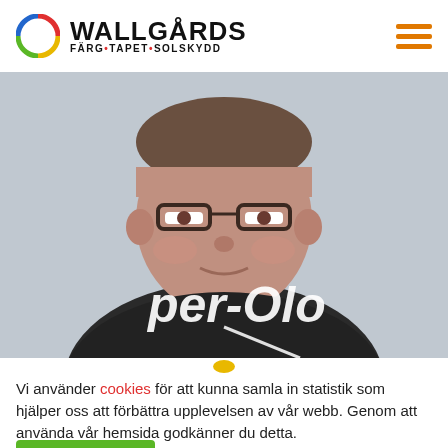WALLGÅRDS FÄRG•TAPET•SOLSKYDD
[Figure (photo): Headshot photo of a middle-aged man wearing glasses and a dark jacket, with text overlay reading 'per-Olo' (partially visible name)]
Vi använder cookies för att kunna samla in statistik som hjälper oss att förbättra upplevelsen av vår webb. Genom att använda vår hemsida godkänner du detta.
Jag förstår